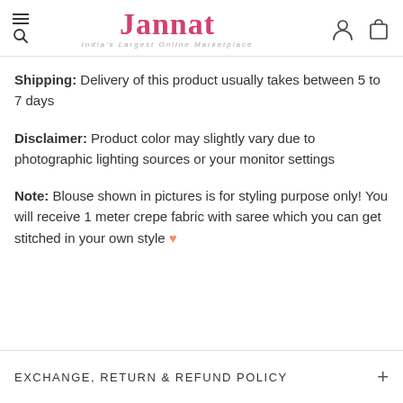Jannat — India's Largest Online Marketplace
Shipping: Delivery of this product usually takes between 5 to 7 days
Disclaimer: Product color may slightly vary due to photographic lighting sources or your monitor settings
Note: Blouse shown in pictures is for styling purpose only! You will receive 1 meter crepe fabric with saree which you can get stitched in your own style ♥
EXCHANGE, RETURN & REFUND POLICY